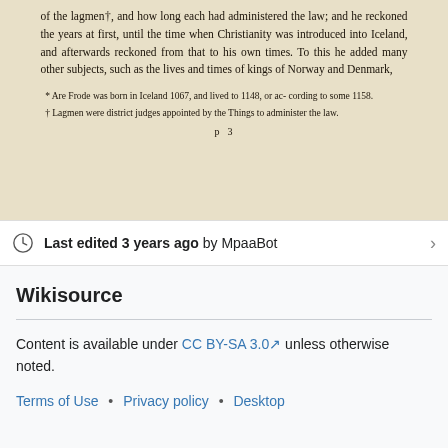[Figure (photo): Scanned book page with main text about Are Frode and Lagmen, footnotes marked with * and †, and page number 'p 3' at bottom.]
of the lagmen†, and how long each had administered the law; and he reckoned the years at first, until the time when Christianity was introduced into Iceland, and afterwards reckoned from that to his own times. To this he added many other subjects, such as the lives and times of kings of Norway and Denmark,
* Are Frode was born in Iceland 1067, and lived to 1148, or according to some 1158.
† Lagmen were district judges appointed by the Things to administer the law.
p 3
Last edited 3 years ago by MpaaBot
Wikisource
Content is available under CC BY-SA 3.0 unless otherwise noted.
Terms of Use • Privacy policy • Desktop